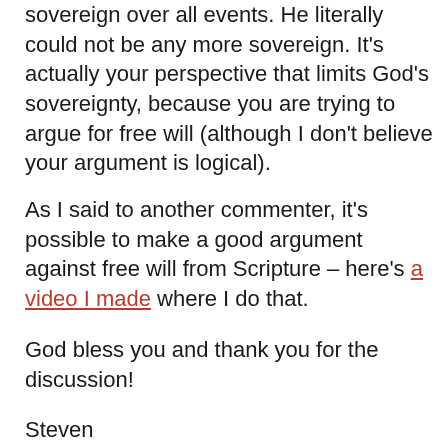sovereign over all events. He literally could not be any more sovereign. It's actually your perspective that limits God's sovereignty, because you are trying to argue for free will (although I don't believe your argument is logical).
As I said to another commenter, it's possible to make a good argument against free will from Scripture – here's a video I made where I do that.
God bless you and thank you for the discussion!
Steven